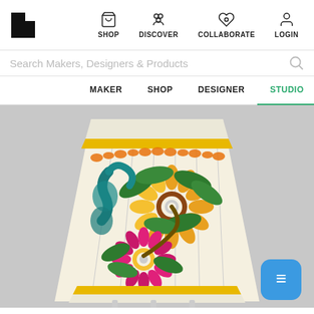Navigation bar with logo, SHOP, DISCOVER, COLLABORATE, LOGIN
Search Makers, Designers & Products
MAKER  SHOP  DESIGNER  STUDIO
[Figure (photo): A decorative hand-painted ceramic lamp shade with colorful floral motifs including sunflowers, pink daisy flowers, and teal/green leaf patterns against a cream background with orange pebble border details. The lamp shade is conical and sits on thin legs.]